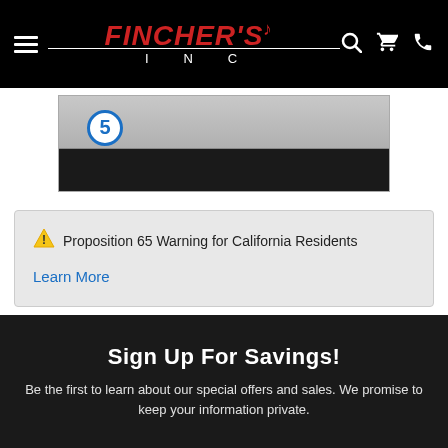Fincher's INC
[Figure (screenshot): Product image area showing a step 5 badge on a gray and black background]
⚠ Proposition 65 Warning for California Residents
Learn More
Sign Up For Savings!
Be the first to learn about our special offers and sales. We promise to keep your information private.